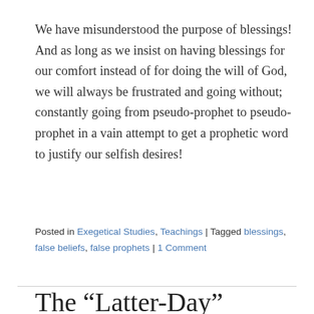We have misunderstood the purpose of blessings! And as long as we insist on having blessings for our comfort instead of for doing the will of God, we will always be frustrated and going without; constantly going from pseudo-prophet to pseudo-prophet in a vain attempt to get a prophetic word to justify our selfish desires!
Posted in Exegetical Studies, Teachings | Tagged blessings, false beliefs, false prophets | 1 Comment
The “Latter-Day”